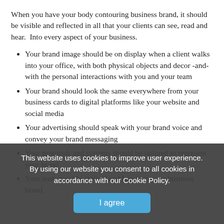When you have your body contouring business brand, it should be visible and reflected in all that your clients can see, read and hear. Into every aspect of your business.
Your brand image should be on display when a client walks into your office, with both physical objects and decor -and- with the personal interactions with you and your team
Your brand should look the same everywhere from your business cards to digital platforms like your website and social media
Your advertising should speak with your brand voice and convey your brand messaging
Your protocols and systems should be tailored to represent your brand
Your team must be trained and buy in to your business brand
This website uses cookies to improve user experience. By using our website you consent to all cookies in accordance with our Cookie Policy.

I agree